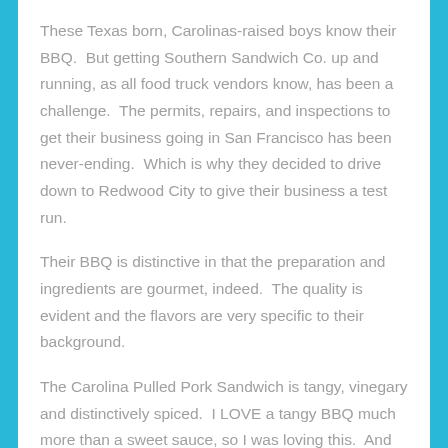These Texas born, Carolinas-raised boys know their BBQ.  But getting Southern Sandwich Co. up and running, as all food truck vendors know, has been a challenge.  The permits, repairs, and inspections to get their business going in San Francisco has been never-ending.  Which is why they decided to drive down to Redwood City to give their business a test run.
Their BBQ is distinctive in that the preparation and ingredients are gourmet, indeed.  The quality is evident and the flavors are very specific to their background.
The Carolina Pulled Pork Sandwich is tangy, vinegary and distinctively spiced.  I LOVE a tangy BBQ much more than a sweet sauce, so I was loving this.  And just like they do in the Carolinas, they threw some coleslaw onto the sandwich.  The added tang, freshness and crunch